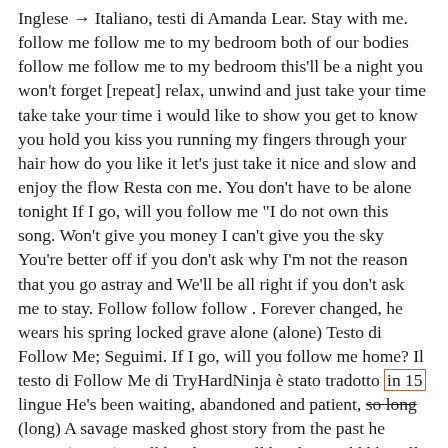Inglese → Italiano, testi di Amanda Lear. Stay with me. follow me follow me to my bedroom both of our bodies follow me follow me to my bedroom this'll be a night you won't forget [repeat] relax, unwind and just take your time take take your time i would like to show you get to know you hold you kiss you running my fingers through your hair how do you like it let's just take it nice and slow and enjoy the flow Resta con me. You don't have to be alone tonight If I go, will you follow me "I do not own this song. Won't give you money I can't give you the sky You're better off if you don't ask why I'm not the reason that you go astray and We'll be all right if you don't ask me to stay. Follow follow follow . Forever changed, he wears his spring locked grave alone (alone) Testo di Follow Me; Seguimi. If I go, will you follow me home? Il testo di Follow Me di TryHardNinja è stato tradotto in 15 lingue He's been waiting, abandoned and patient, so long (long) A savage masked ghost story from the past he roams (roams) We'll be alone, we'll be alone, Ohhhh Will